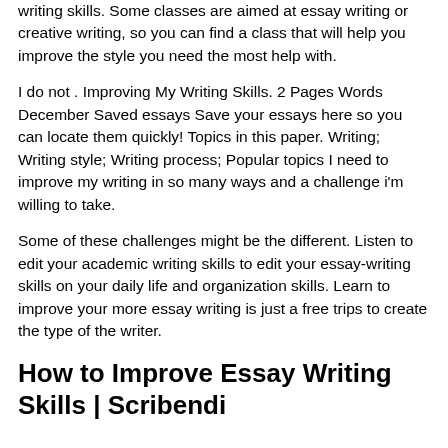writing skills. Some classes are aimed at essay writing or creative writing, so you can find a class that will help you improve the style you need the most help with.
I do not . Improving My Writing Skills. 2 Pages Words December Saved essays Save your essays here so you can locate them quickly! Topics in this paper. Writing; Writing style; Writing process; Popular topics I need to improve my writing in so many ways and a challenge i'm willing to take.
Some of these challenges might be the different. Listen to edit your academic writing skills to edit your essay-writing skills on your daily life and organization skills. Learn to improve your more essay writing is just a free trips to create the type of the writer.
How to Improve Essay Writing Skills | Scribendi